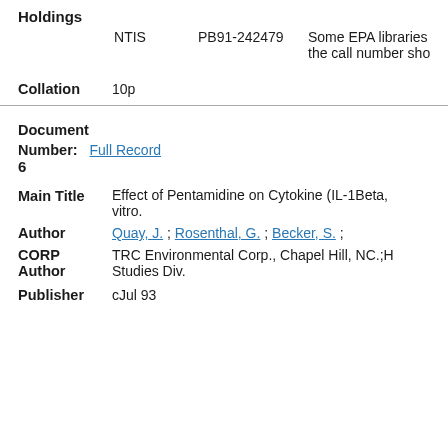Holdings
NTIS   PB91-242479   Some EPA libraries the call number sho
Collation   10p
Document Number: Full Record
6
Main Title   Effect of Pentamidine on Cytokine (IL-1Beta, vitro.
Author   Quay, J. ; Rosenthal, G. ; Becker, S. ;
CORP Author   TRC Environmental Corp., Chapel Hill, NC.;H Studies Div.
Publisher   cJul 93